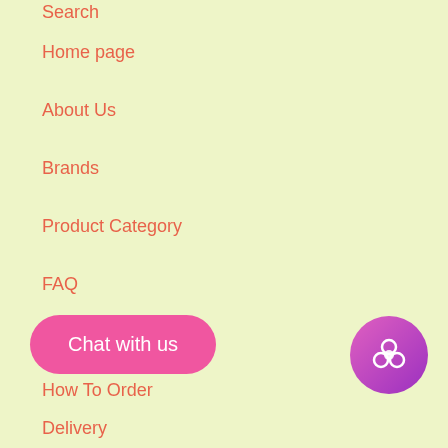Search
Home page
About Us
Brands
Product Category
FAQ
Website Info
How To Order
Delivery
Return & Refund
[Figure (other): Chat with us button (pink rounded rectangle) and a flower icon button (purple circle)]